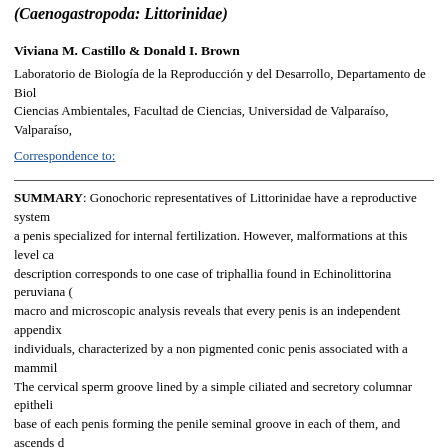(Caenogastropoda: Littorinidae)
Viviana M. Castillo & Donald I. Brown
Laboratorio de Biología de la Reproducción y del Desarrollo, Departamento de Biología y Ciencias Ambientales, Facultad de Ciencias, Universidad de Valparaíso, Valparaíso,
Correspondence to:
SUMMARY: Gonochoric representatives of Littorinidae have a reproductive system a penis specialized for internal fertilization. However, malformations at this level can description corresponds to one case of triphallia found in Echinolittorina peruviana ( macro and microscopic analysis reveals that every penis is an independent appendix individuals, characterized by a non pigmented conic penis associated with a mammil The cervical sperm groove lined by a simple ciliated and secretory columnar epitheli base of each penis forming the penile seminal groove in each of them, and ascends d up the reproductive system have a normal organization (no duplication or triplets), a the male germ line. Although the cause of this condition is still unknown, might be a
KEYWORDS: Mollusk; Reproductive; Reproductive system; Penial morpholog
RESUMEN: Los representantes gonocóricos de Littorinidae presentan un sistema re al testículo con un pene especializado para la fecundación interna. Sin embargo, pue (presencia de pene triple). Esta descripción corresponde a un caso de trifalia encontra (Lamarck, 1822), habitante de las costas del Pacífico Sur. El análisis macro y micros cuya morfología individual es semejante a la de individuos normales, caracterizada p